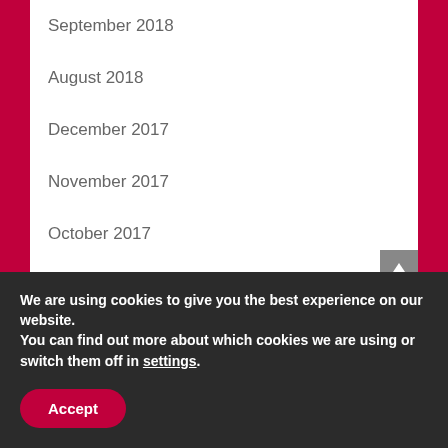September 2018
August 2018
December 2017
November 2017
October 2017
Meta
Log in
Entries feed
Comments feed
We are using cookies to give you the best experience on our website.
You can find out more about which cookies we are using or switch them off in settings.
Accept